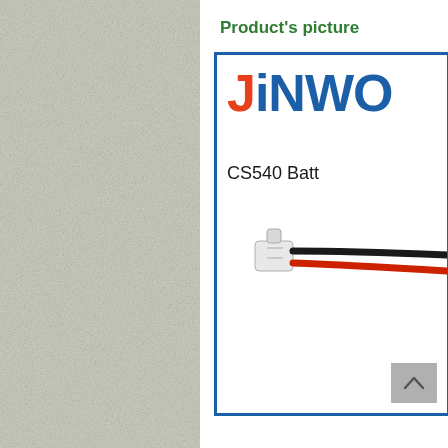Product's picture
[Figure (photo): Product photo showing a small white connector plug with red and black wires, labeled CS540 Battery, displayed inside a blue-bordered box with a JiNWO logo (J in orange, rest in blue) at the top.]